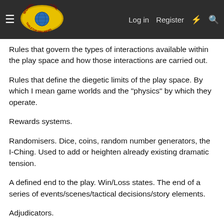Morrus' Unofficial Tabletop RPG News — Log in  Register
Rules that govern the types of interactions available within the play space and how those interactions are carried out.
Rules that define the diegetic limits of the play space. By which I mean game worlds and the "physics" by which they operate.
Rewards systems.
Randomisers. Dice, coins, random number generators, the I-Ching. Used to add or heighten already existing dramatic tension.
A defined end to the play. Win/Loss states. The end of a series of events/scenes/tactical decisions/story elements.
Adjudicators.